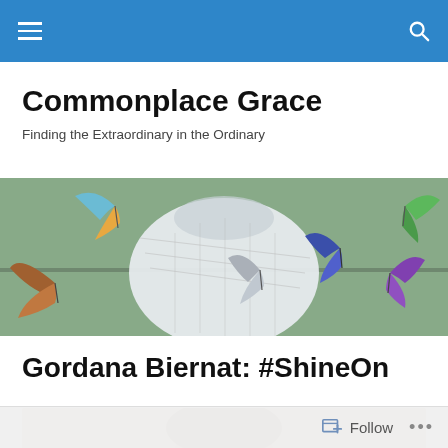Navigation bar with hamburger menu and search icon
Commonplace Grace
Finding the Extraordinary in the Ordinary
[Figure (illustration): Illustration of colorful butterflies and moths surrounding a large white spherical or jar-like object on a green background]
Gordana Biernat: #ShineOn
[Figure (photo): Photo of a person, partially visible from the top, with brown hair]
Follow ...